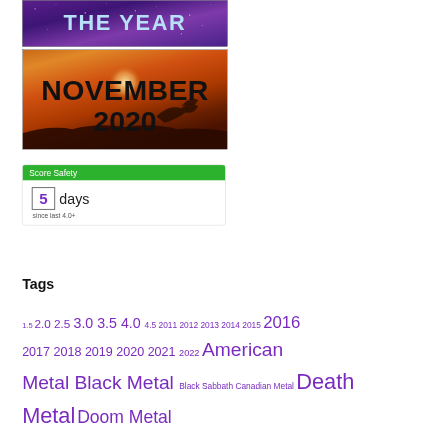[Figure (illustration): Purple/blue galaxy-style banner image with text THE YEAR]
[Figure (illustration): Orange/red dramatic sky background banner image with text NOVEMBER 2020]
[Figure (infographic): Score Safety widget showing green header, number 5 in a box, 'days', and 'since last 4.0+']
Tags
1.5 2.0 2.5 3.0 3.5 4.0 4.5 2011 2012 2013 2014 2015 2016 2017 2018 2019 2020 2021 2022 American Metal Black Metal Black Sabbath Canadian Metal Death Metal Doom Metal